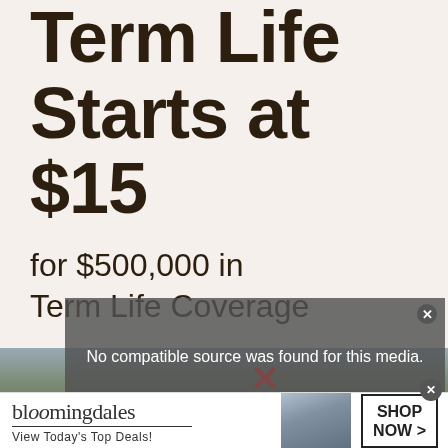Term Life Starts at $15
for $500,000 in Term Life Coverage
[Figure (screenshot): Video player overlay showing error message: 'No compatible source was found for this media.' with close button]
[Figure (photo): Partial photo strip showing outdoor scene with person, partially obscured by overlays]
[Figure (infographic): Bloomingdale's advertisement banner with logo, 'View Today's Top Deals!' tagline, woman in hat photo, and SHOP NOW > button]